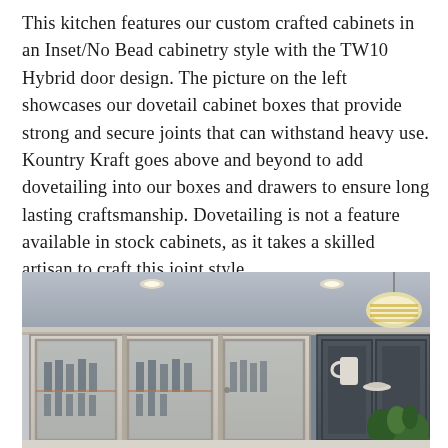This kitchen features our custom crafted cabinets in an Inset/No Bead cabinetry style with the TW10 Hybrid door design. The picture on the left showcases our dovetail cabinet boxes that provide strong and secure joints that can withstand heavy use. Kountry Kraft goes above and beyond to add dovetailing into our boxes and drawers to ensure long lasting craftsmanship. Dovetailing is not a feature available in stock cabinets, as it takes a skilled artisan to craft this joint style.
[Figure (photo): Kitchen with custom inset cabinets featuring glass doors displaying glassware, white/gray painted cabinetry, dark upper cabinets on the right side, pendant light, recessed lighting, and green plant in foreground.]